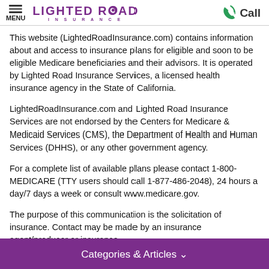MENU | LIGHTED ROAD INSURANCE | Call
This website (LightedRoadInsurance.com) contains information about and access to insurance plans for eligible and soon to be eligible Medicare beneficiaries and their advisors. It is operated by Lighted Road Insurance Services, a licensed health insurance agency in the State of California.
LightedRoadInsurance.com and Lighted Road Insurance Services are not endorsed by the Centers for Medicare & Medicaid Services (CMS), the Department of Health and Human Services (DHHS), or any other government agency.
For a complete list of available plans please contact 1-800-MEDICARE (TTY users should call 1-877-486-2048), 24 hours a day/7 days a week or consult www.medicare.gov.
The purpose of this communication is the solicitation of insurance. Contact may be made by an insurance agent/producer or insurance company. Enrollment depends on the contract's annual renewal.
Categories & Articles ∨